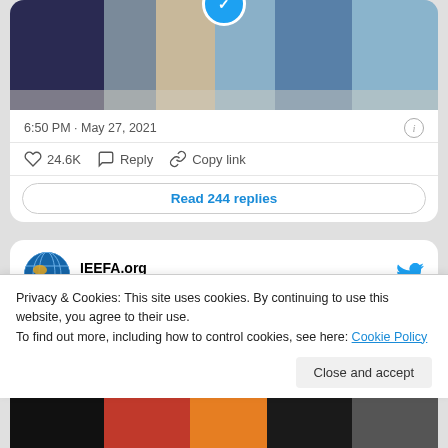[Figure (screenshot): Photo of people walking, with blue verified circle overlay at top]
6:50 PM · May 27, 2021
24.6K  Reply  Copy link
Read 244 replies
[Figure (screenshot): IEEFA.org @ieefa_institute · Follow Twitter profile header with globe logo and Twitter bird icon]
Black day for #BigOil as courts and investors hand
Privacy & Cookies: This site uses cookies. By continuing to use this website, you agree to their use.
To find out more, including how to control cookies, see here: Cookie Policy
Close and accept